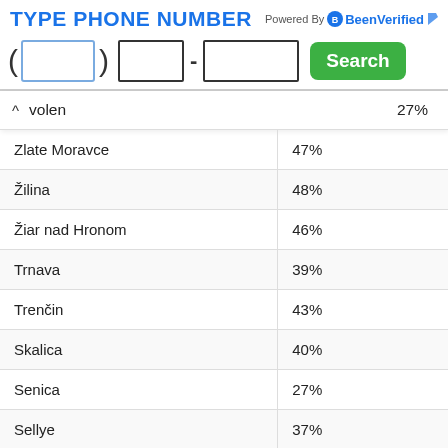TYPE PHONE NUMBER — Powered By BeenVerified
| City | Percentage |
| --- | --- |
| volen | 27% |
| Zlate Moravce | 47% |
| Žilina | 48% |
| Žiar nad Hronom | 46% |
| Trnava | 39% |
| Trenčin | 43% |
| Skalica | 40% |
| Senica | 27% |
| Sellye | 37% |
| Ružomberok | 27% |